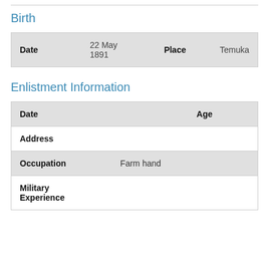Birth
| Date |  | Place |  |
| --- | --- | --- | --- |
| 22 May 1891 |  | Temuka |  |
Enlistment Information
| Date |  | Age |  |
| Address |  |  |  |
| Occupation | Farm hand |  |  |
| Military Experience |  |  |  |